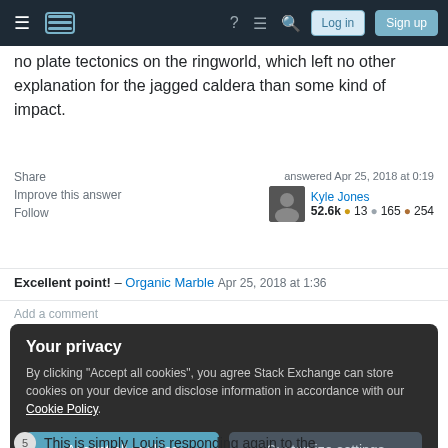Stack Exchange navigation bar with Log in and Sign up buttons
no plate tectonics on the ringworld, which left no other explanation for the jagged caldera than some kind of impact.
Share  Improve this answer  Follow
answered Apr 25, 2018 at 0:19  Kyle Jones  52.6k  13  165  254
Excellent point! – Organic Marble Apr 25, 2018 at 1:36
Add a comment
Your privacy
By clicking "Accept all cookies", you agree Stack Exchange can store cookies on your device and disclose information in accordance with our Cookie Policy.
Accept all cookies
Customize settings
This is simply Louis responding again to the